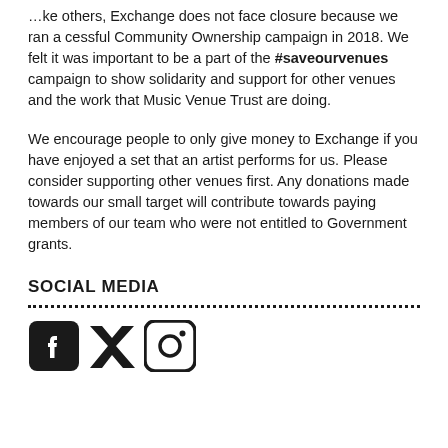…ke others, Exchange does not face closure because we ran a cessful Community Ownership campaign in 2018. We felt it was important to be a part of the #saveourvenues campaign to show solidarity and support for other venues and the work that Music Venue Trust are doing.
We encourage people to only give money to Exchange if you have enjoyed a set that an artist performs for us. Please consider supporting other venues first. Any donations made towards our small target will contribute towards paying members of our team who were not entitled to Government grants.
SOCIAL MEDIA
[Figure (illustration): Three social media icons: Facebook, Twitter, Instagram, rendered in black.]